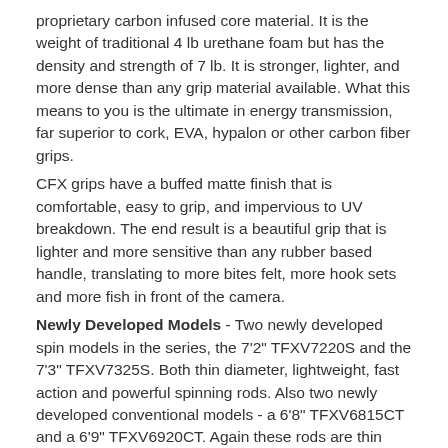proprietary carbon infused core material. It is the weight of traditional 4 lb urethane foam but has the density and strength of 7 lb. It is stronger, lighter, and more dense than any grip material available. What this means to you is the ultimate in energy transmission, far superior to cork, EVA, hypalon or other carbon fiber grips.
CFX grips have a buffed matte finish that is comfortable, easy to grip, and impervious to UV breakdown. The end result is a beautiful grip that is lighter and more sensitive than any rubber based handle, translating to more bites felt, more hook sets and more fish in front of the camera.
Newly Developed Models - Two newly developed spin models in the series, the 7'2" TFXV7220S and the 7'3" TFXV7325S. Both thin diameter, lightweight, fast action and powerful spinning rods. Also two newly developed conventional models - a 6'8" TFXV6815CT and a 6'9" TFXV6920CT. Again these rods are thin diameter, lightweight and powerful, based off the old CGBT841L and ML blanks but with a newer, lighter nanocomposite material in the blank. Those two conventional models will be absolutely